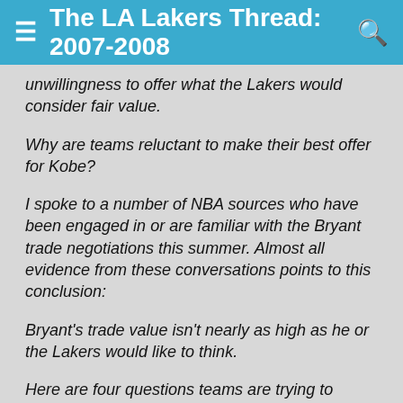The LA Lakers Thread: 2007-2008
unwillingness to offer what the Lakers would consider fair value.
Why are teams reluctant to make their best offer for Kobe?
I spoke to a number of NBA sources who have been engaged in or are familiar with the Bryant trade negotiations this summer. Almost all evidence from these conversations points to this conclusion:
Bryant's trade value isn't nearly as high as he or the Lakers would like to think.
Here are four questions teams are trying to answer before acquiring Bryant:
1. Does Kobe have too much mileage?